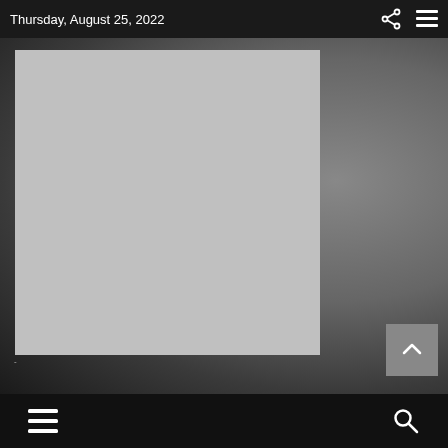Thursday, August 25, 2022
[Figure (photo): Large image placeholder (light gray rectangle) on a dark gradient background, representing a webpage screenshot with navigation bars.]
Menu and Search icons